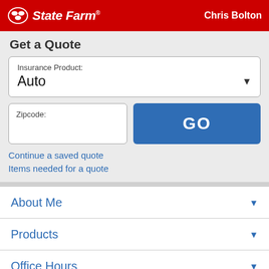State Farm | Chris Bolton
Get a Quote
Insurance Product: Auto
Zipcode:
GO
Continue a saved quote
Items needed for a quote
About Me
Products
Office Hours
Location & Phone